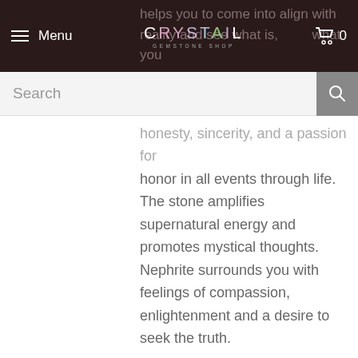Crystal Gemstone Shop – Navigation with Menu, Logo, Cart (0)
helps you to come into align with reality and see what is, not what you want to see. Nephrite is a stone of honesty, sincerity, and a passion for honor in all events through life. The stone amplifies supernatural energy and promotes mystical thoughts. Nephrite surrounds you with feelings of compassion, enlightenment and a desire to seek the truth.
Nephrite varies from a medium to dark green and can sometimes have streaks of white.